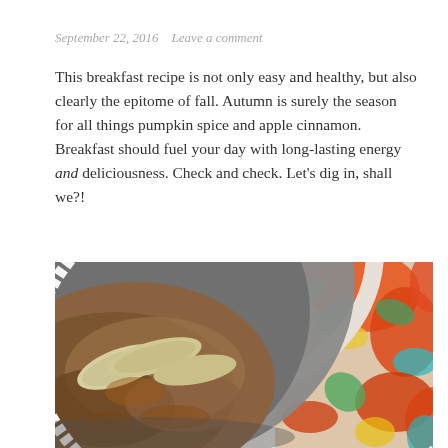September 22, 2016   Leave a comment
This breakfast recipe is not only easy and healthy, but also clearly the epitome of fall. Autumn is surely the season for all things pumpkin spice and apple cinnamon. Breakfast should fuel your day with long-lasting energy and deliciousness. Check and check. Let’s dig in, shall we?!
[Figure (photo): A gray bowl filled with oatmeal and sliced apples with cinnamon, placed on a colorful floral patterned placemat with orange, red, green and yellow tones on a white background.]